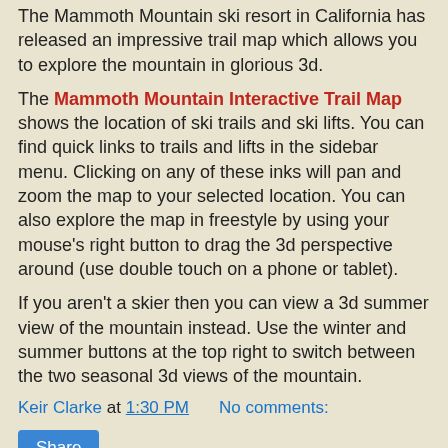The Mammoth Mountain ski resort in California has released an impressive trail map which allows you to explore the mountain in glorious 3d.
The Mammoth Mountain Interactive Trail Map shows the location of ski trails and ski lifts. You can find quick links to trails and lifts in the sidebar menu. Clicking on any of these inks will pan and zoom the map to your selected location. You can also explore the map in freestyle by using your mouse's right button to drag the 3d perspective around (use double touch on a phone or tablet).
If you aren't a skier then you can view a 3d summer view of the mountain instead. Use the winter and summer buttons at the top right to switch between the two seasonal 3d views of the mountain.
Keir Clarke at 1:30 PM    No comments:
Share
Monday, November 14, 2016